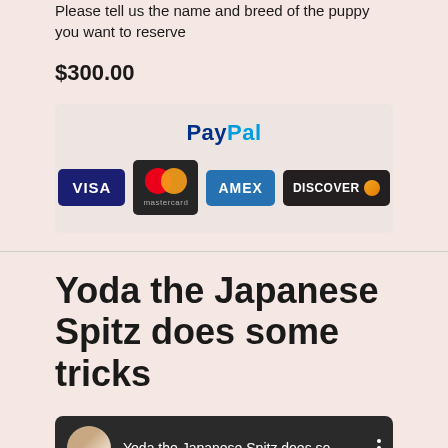Please tell us the name and breed of the puppy you want to reserve
$300.00
[Figure (other): PayPal payment box with PayPal logo and credit card logos: VISA, Mastercard, AMEX, Discover]
Yoda the Japanese Spitz does some tricks
[Figure (screenshot): YouTube video thumbnail showing 'Yoda the Japanese Spitz does so...' with channel avatar and three-dot menu]